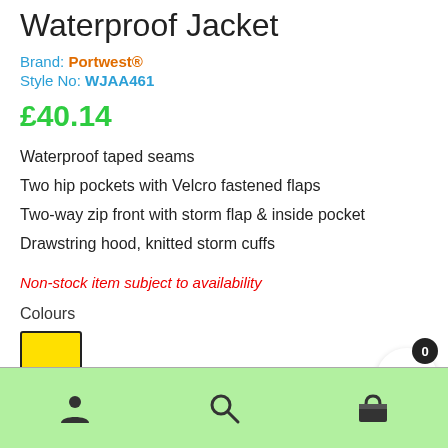Waterproof Jacket
Brand: Portwest®
Style No: WJAA461
£40.14
Waterproof taped seams
Two hip pockets with Velcro fastened flaps
Two-way zip front with storm flap & inside pocket
Drawstring hood, knitted storm cuffs
Non-stock item subject to availability
Colours
[Figure (other): Yellow colour swatch square]
[Figure (other): Bottom navigation bar with user icon, search icon, basket icon, and cart badge showing 0]